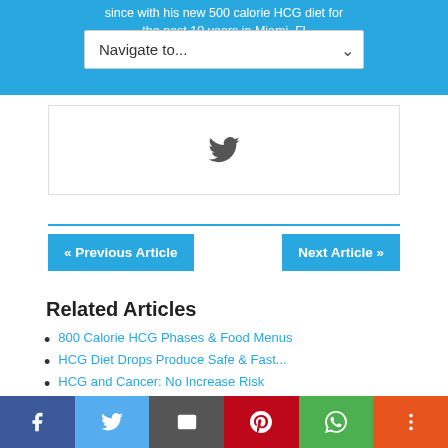since with his new 500 calorie HCG diet for the past 10 years in Miami, Fl
[Figure (screenshot): Navigation dropdown widget with placeholder 'Navigate to...' on blue background]
[Figure (screenshot): Twitter share card with Twitter bird icon]
« Previous Article    Next Article »
Related Articles
800 Calorie HCG Phases & Food Menus
HCG Diet Drops Produce Safe & Fast...
HCG and Cancer: No Increase Risk
What are the 10 Side Effects of 800 Calorie...
800 Calorie HCG Diet: 500 to 800 Calories
[Figure (screenshot): Social sharing bar at bottom: Facebook, Twitter, Email, Pinterest, WhatsApp, More]